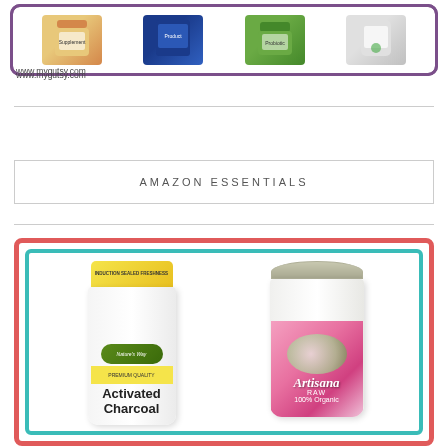[Figure (photo): Top banner showing four supplement product images in a purple-bordered rounded rectangle with www.mygutsy.com URL below]
AMAZON ESSENTIALS
[Figure (photo): Bottom banner with red and teal border showing two products: Nature's Way Activated Charcoal bottle and Artisana Raw 100% Organic coconut oil jar]